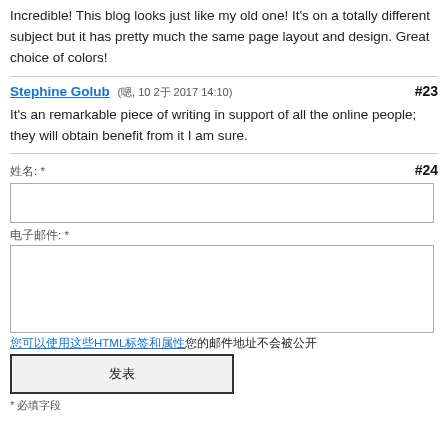Incredible! This blog looks just like my old one! It's on a totally different subject but it has pretty much the same page layout and design. Great choice of colors!
Stephine Golub (嗯, 10 2于 2017 14:10) #23
It's an remarkable piece of writing in support of all the online people; they will obtain benefit from it I am sure.
姓名: * #24
电子邮件: *
您可以使用这些HTML标签和属性
发表
* 必填字段